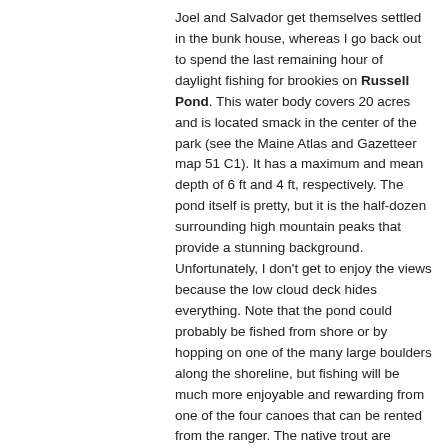Joel and Salvador get themselves settled in the bunk house, whereas I go back out to spend the last remaining hour of daylight fishing for brookies on Russell Pond. This water body covers 20 acres and is located smack in the center of the park (see the Maine Atlas and Gazetteer map 51 C1). It has a maximum and mean depth of 6 ft and 4 ft, respectively. The pond itself is pretty, but it is the half-dozen surrounding high mountain peaks that provide a stunning background. Unfortunately, I don't get to enjoy the views because the low cloud deck hides everything. Note that the pond could probably be fished from shore or by hopping on one of the many large boulders along the shoreline, but fishing will be much more enjoyable and rewarding from one of the four canoes that can be rented from the ranger. The native trout are numerous but small, with none exceeding 12". The daily bag limit on trout is five fish with a minimum length limit of 6". Use or possession of life baitfish is prohibited, but dead fish, salmon eggs, and worms are allowed as bait.